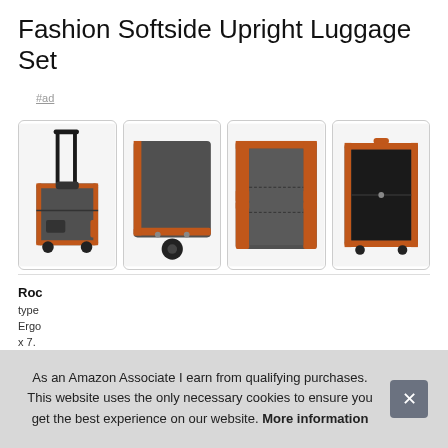Fashion Softside Upright Luggage Set
#ad
[Figure (photo): Four product photos of a gray and orange softside upright luggage set: full suitcase with extended handle, bottom wheel detail, top zipper/latch detail, and open suitcase interior.]
Roc
type
Ergo
x 7.
As an Amazon Associate I earn from qualifying purchases. This website uses the only necessary cookies to ensure you get the best experience on our website. More information